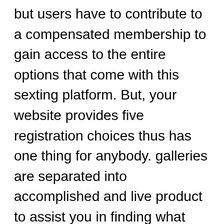but users have to contribute to a compensated membership to gain access to the entire options that come with this sexting platform. But, your website provides five registration choices thus has one thing for anybody. galleries are separated into accomplished and live product to assist you in finding what exactly is available and what you would like to see.
Benaughty may be the go to chat and site that is dating aroused women and men that are strictly looking for hookups. It is